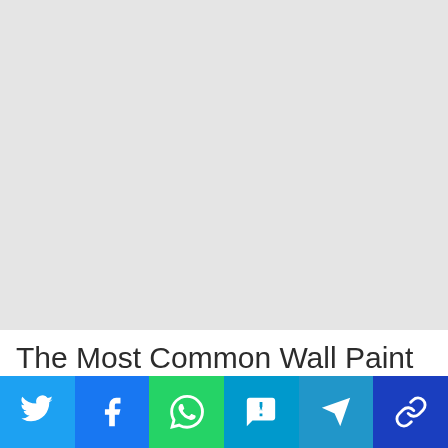[Figure (photo): Light grey placeholder image area occupying the top portion of the page]
The Most Common Wall Paint Job
[Figure (infographic): Social sharing bar with six buttons: Twitter (blue bird), Facebook (blue f), WhatsApp (green phone), SMS (blue speech bubble), Telegram (blue paper plane), Link (dark blue chain link)]